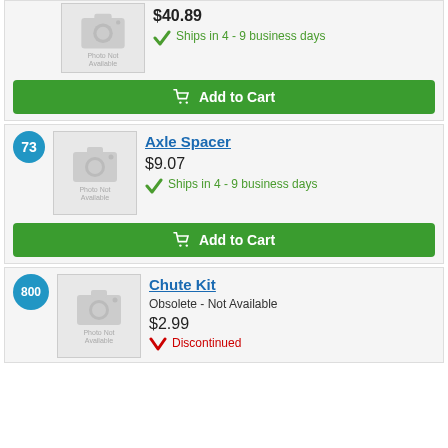[Figure (other): Product photo placeholder - Photo Not Available with camera icon]
$40.89
Ships in 4 - 9 business days
Add to Cart
73
[Figure (other): Product photo placeholder - Photo Not Available with camera icon]
Axle Spacer
$9.07
Ships in 4 - 9 business days
Add to Cart
800
[Figure (other): Product photo placeholder - Photo Not Available with camera icon]
Chute Kit
Obsolete - Not Available
$2.99
Discontinued